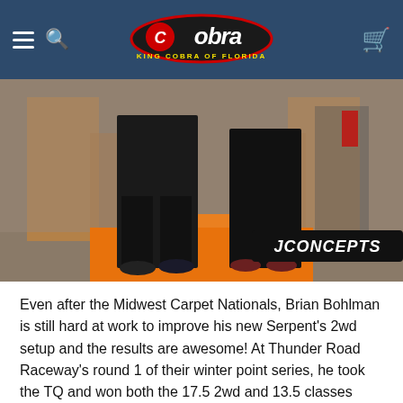King Cobra of Florida - Navigation Header
[Figure (photo): Two people standing on an orange podium/steps with JConcepts branding visible at the bottom. The background shows an indoor racing or hobby shop environment with wooden structures.]
Even after the Midwest Carpet Nationals, Brian Bohlman is still hard at work to improve his new Serpent's 2wd setup and the results are awesome! At Thunder Road Raceway's round 1 of their winter point series, he took the TQ and won both the 17.5 2wd and 13.5 classes using Swagger fronts and Twin Pin rear carpet tires. Tyler joined Brian on the podium as he too raced both classes finishing 3rd